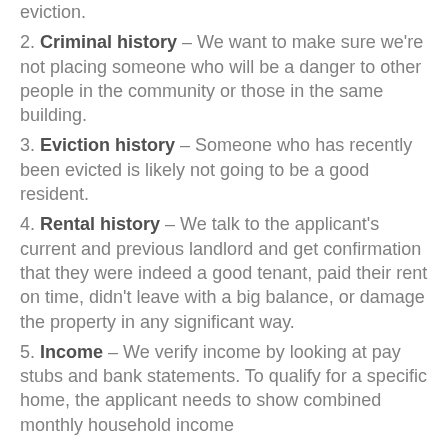eviction.
2. Criminal history – We want to make sure we're not placing someone who will be a danger to other people in the community or those in the same building.
3. Eviction history – Someone who has recently been evicted is likely not going to be a good resident.
4. Rental history – We talk to the applicant's current and previous landlord and get confirmation that they were indeed a good tenant, paid their rent on time, didn't leave with a big balance, or damage the property in any significant way.
5. Income – We verify income by looking at pay stubs and bank statements. To qualify for a specific home, the applicant needs to show combined monthly household income